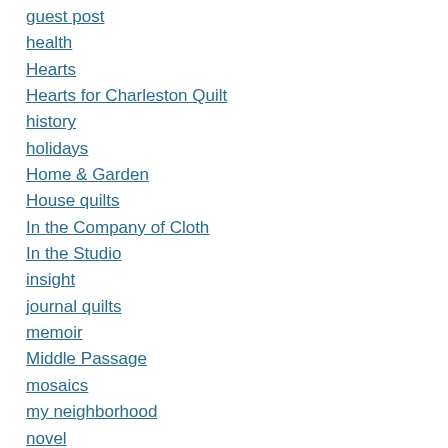guest post
health
Hearts
Hearts for Charleston Quilt
history
holidays
Home & Garden
House quilts
In the Company of Cloth
In the Studio
insight
journal quilts
memoir
Middle Passage
mosaics
my neighborhood
novel
online learning
Out and About